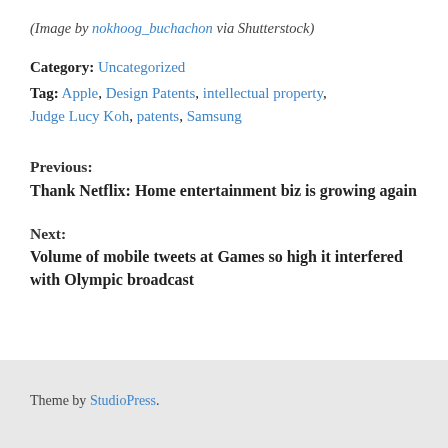(Image by nokhoog_buchachon via Shutterstock)
Category: Uncategorized
Tag: Apple, Design Patents, intellectual property, Judge Lucy Koh, patents, Samsung
Previous:
Thank Netflix: Home entertainment biz is growing again
Next:
Volume of mobile tweets at Games so high it interfered with Olympic broadcast
Theme by StudioPress.